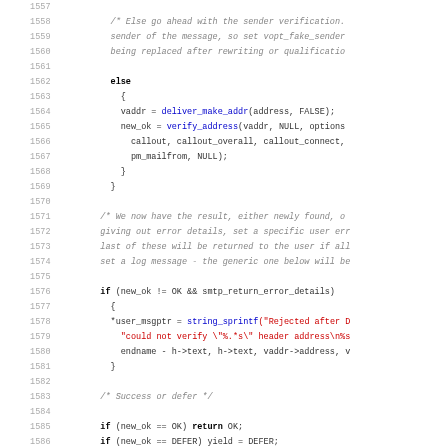[Figure (screenshot): Source code listing in C, lines 1557-1588, showing conditional logic for sender verification with function calls like deliver_make_addr, verify_address, string_sprintf, and keywords else, if, return highlighted.]